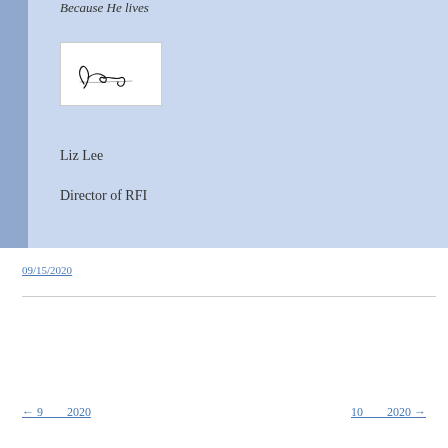Because He lives
[Figure (illustration): Handwritten signature in cursive on white background]
Liz Lee
Director of RFI
09/15/2020
← 9  2020    10  2020 →